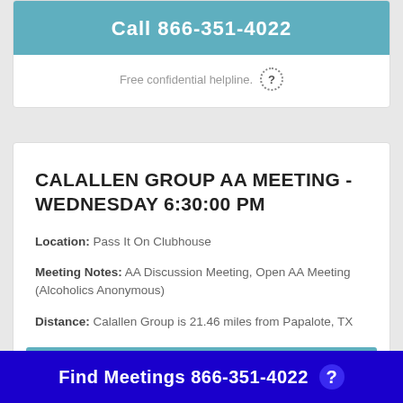Call 866-351-4022
Free confidential helpline.
CALALLEN GROUP AA MEETING - WEDNESDAY 6:30:00 PM
Location: Pass It On Clubhouse
Meeting Notes: AA Discussion Meeting, Open AA Meeting (Alcoholics Anonymous)
Distance: Calallen Group is 21.46 miles from Papalote, TX
Call 866-351-4022
Find Meetings 866-351-4022